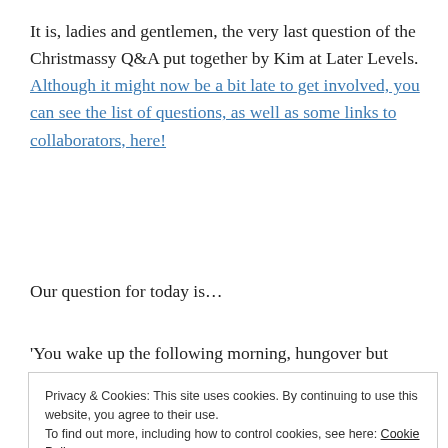It is, ladies and gentlemen, the very last question of the Christmassy Q&A put together by Kim at Later Levels. Although it might now be a bit late to get involved, you can see the list of questions, as well as some links to collaborators, here!
Our question for today is...
'You wake up the following morning, hungover but
Privacy & Cookies: This site uses cookies. By continuing to use this website, you agree to their use. To find out more, including how to control cookies, see here: Cookie Policy
Close and accept